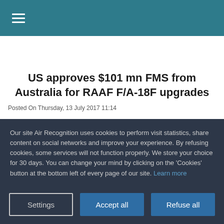≡
US approves $101 mn FMS from Australia for RAAF F/A-18F upgrades
Posted On Thursday, 13 July 2017 11:14
Our site Air Recognition uses cookies to perform visit statistics, share content on social networks and improve your experience. By refusing cookies, some services will not function properly. We store your choice for 30 days. You can change your mind by clicking on the 'Cookies' button at the bottom left of every page of our site. Learn more